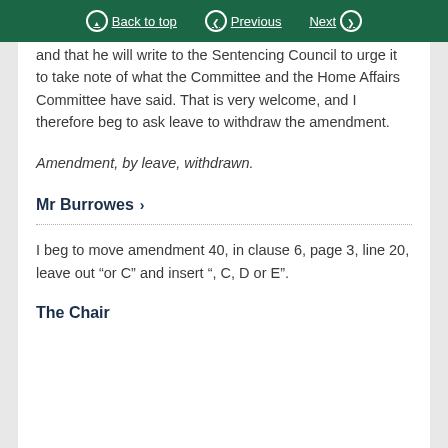Back to top | Previous | Next
and that he will write to the Sentencing Council to urge it to take note of what the Committee and the Home Affairs Committee have said. That is very welcome, and I therefore beg to ask leave to withdraw the amendment.
Amendment, by leave, withdrawn.
Mr Burrowes >
I beg to move amendment 40, in clause 6, page 3, line 20, leave out “or C” and insert “, C, D or E”.
The Chair